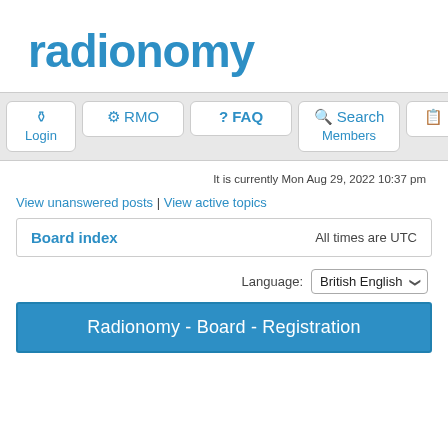radionomy
[Figure (screenshot): Navigation bar with Login, RMO, FAQ, Search, Members buttons]
It is currently Mon Aug 29, 2022 10:37 pm
View unanswered posts | View active topics
| Board index | All times are UTC |
| --- | --- |
Language: British English
Radionomy - Board - Registration